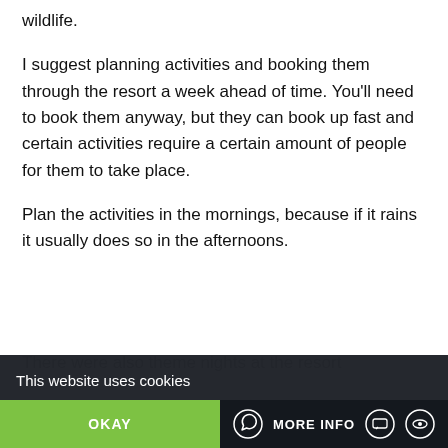wildlife.
I suggest planning activities and booking them through the resort a week ahead of time. You'll need to book them anyway, but they can book up fast and certain activities require a certain amount of people for them to take place.
Plan the activities in the mornings, because if it rains it usually does so in the afternoons.
There were also theme nights at the resort...
This website uses cookies
OKAY
MORE INFO